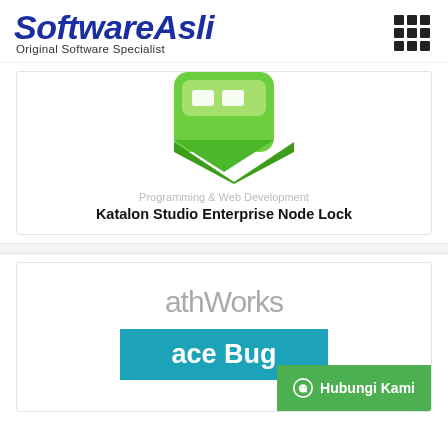[Figure (logo): SoftwareAsli logo with text 'Original Software Specialist' and grid menu icon on the right]
[Figure (illustration): Katalon Studio green app icon (partially cropped at top)]
Programming & Web Development
Katalon Studio Enterprise Node Lock
[Figure (logo): MathWorks logo text partially visible]
[Figure (illustration): Blue banner with partial text 'ace Bug']
Hubungi Kami